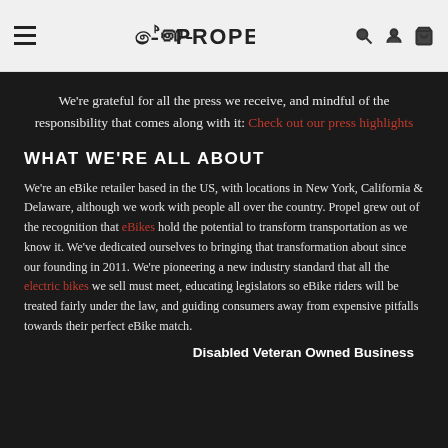≈∂∞ PROPEL (navigation bar with hamburger menu, search, user, and cart icons)
We're grateful for all the press we receive, and mindful of the responsibility that comes along with it: Check out our press highlights
WHAT WE'RE ALL ABOUT
We're an eBike retailer based in the US, with locations in New York, California & Delaware, although we work with people all over the country. Propel grew out of the recognition that eBikes hold the potential to transform transportation as we know it. We've dedicated ourselves to bringing that transformation about since our founding in 2011. We're pioneering a new industry standard that all the electric bikes we sell must meet, educating legislators so eBike riders will be treated fairly under the law, and guiding consumers away from expensive pitfalls towards their perfect eBike match.
Disabled Veteran Owned Business